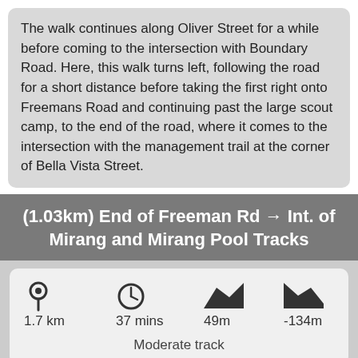The walk continues along Oliver Street for a while before coming to the intersection with Boundary Road. Here, this walk turns left, following the road for a short distance before taking the first right onto Freemans Road and continuing past the large scout camp, to the end of the road, where it comes to the intersection with the management trail at the corner of Bella Vista Street.
(1.03km) End of Freeman Rd → Int. of Mirang and Mirang Pool Tracks
[Figure (infographic): Stats card showing: distance 1.7 km, time 37 mins, elevation gain 49m, elevation loss -134m, difficulty Moderate track, with icons for location pin, clock, uphill, and downhill]
Veer left: From the intersection, this walk follows the management trail, crossing under the high tension power